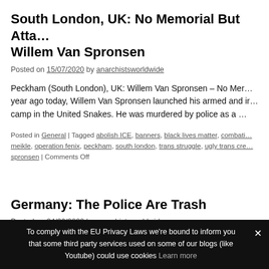South London, UK: No Memorial But Atta… Willem Van Spronsen
Posted on 15/07/2020 by anarchistsworldwide
Peckham (South London), UK: Willem Van Spronsen – No Mer… year ago today, Willem Van Spronsen launched his armed and ir… camp in the United Snakes. He was murdered by police as a …
Posted in General | Tagged abolish ICE, banners, black lives matter, combati… meikle, operation fenix, peckham, south london, trans struggle, ugly trans cre… spronsen | Comments Off
Germany: The Police Are Trash
Posted on 24/06/2020 by anarchistsworldwide
What will we do with the unemployed coppers once we finally a…
To comply with the EU Privacy Laws we're bound to inform you that some third party services used on some of our blogs (like Youtube) could use cookies Learn more